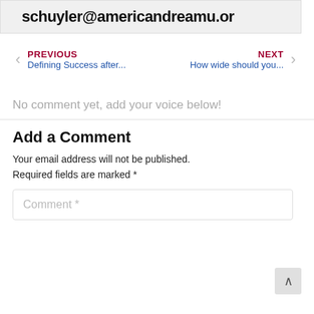schuyler@americandreamu.or
< PREVIOUS Defining Success after... NEXT How wide should you... >
No comment yet, add your voice below!
Add a Comment
Your email address will not be published. Required fields are marked *
Comment *